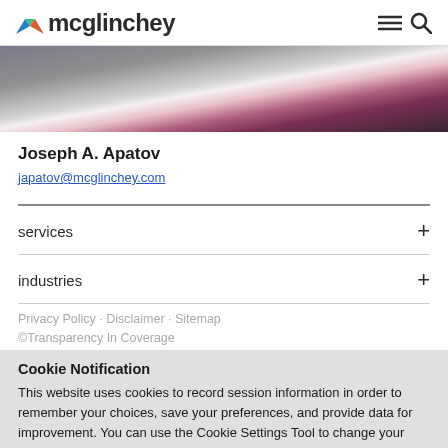mcglinchey
[Figure (photo): Partial photo of Joseph A. Apatov in a dark suit with a pink/magenta tie, cropped to show torso and lower face area]
Joseph A. Apatov
japatov@mcglinchey.com
services
industries
Cookie Notification
This website uses cookies to record session information in order to remember your choices, save your preferences, and provide data for improvement. You can use the Cookie Settings Tool to change your cookie settings. Otherwise, by